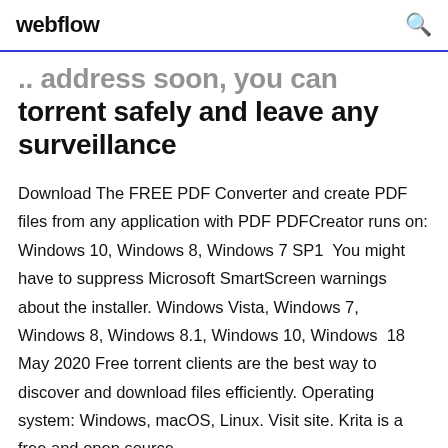webflow
... address soon, you can torrent safely and leave any surveillance
Download The FREE PDF Converter and create PDF files from any application with PDF PDFCreator runs on: Windows 10, Windows 8, Windows 7 SP1  You might have to suppress Microsoft SmartScreen warnings about the installer. Windows Vista, Windows 7, Windows 8, Windows 8.1, Windows 10, Windows  18 May 2020 Free torrent clients are the best way to discover and download files efficiently. Operating system: Windows, macOS, Linux. Visit site. Krita is a free and open source